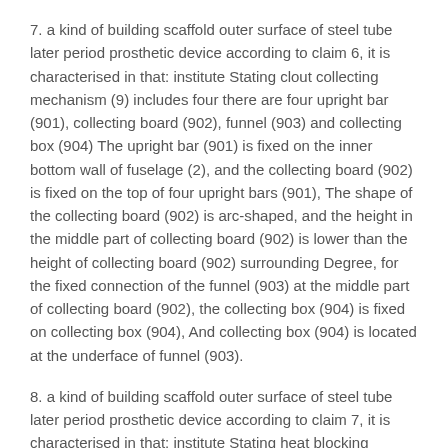7. a kind of building scaffold outer surface of steel tube later period prosthetic device according to claim 6, it is characterised in that: institute Stating clout collecting mechanism (9) includes four there are four upright bar (901), collecting board (902), funnel (903) and collecting box (904) The upright bar (901) is fixed on the inner bottom wall of fuselage (2), and the collecting board (902) is fixed on the top of four upright bars (901), The shape of the collecting board (902) is arc-shaped, and the height in the middle part of collecting board (902) is lower than the height of collecting board (902) surrounding Degree, for the fixed connection of the funnel (903) at the middle part of collecting board (902), the collecting box (904) is fixed on collecting box (904), And collecting box (904) is located at the underface of funnel (903).
8. a kind of building scaffold outer surface of steel tube later period prosthetic device according to claim 7, it is characterised in that: institute Stating heat blocking mechanism (10) includes circle set (1001), four the first gaskets (1002) and four the second gaskets (1003), the circle set (1001) is embedded in the middle part on the side of fuselage (2), and four first gaskets (1002)